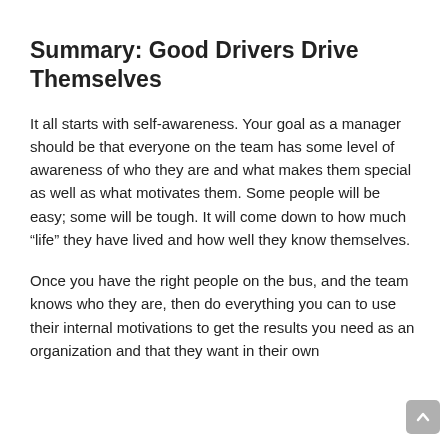Summary: Good Drivers Drive Themselves
It all starts with self-awareness. Your goal as a manager should be that everyone on the team has some level of awareness of who they are and what makes them special as well as what motivates them. Some people will be easy; some will be tough. It will come down to how much “life” they have lived and how well they know themselves.
Once you have the right people on the bus, and the team knows who they are, then do everything you can to use their internal motivations to get the results you need as an organization and that they want in their own